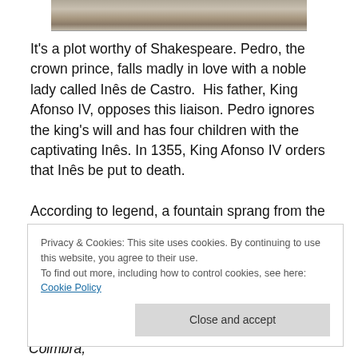[Figure (photo): A cropped photo strip showing a stone or rock surface texture, partially visible at the top of the page.]
It’s a plot worthy of Shakespeare. Pedro, the crown prince, falls madly in love with a noble lady called Inês de Castro. His father, King Afonso IV, opposes this liaison. Pedro ignores the king’s will and has four children with the captivating Inês. In 1355, King Afonso IV orders that Inês be put to death.
According to legend, a fountain sprang from the last tears that Inês shed in Quinta das Lágrimas (the quinta of
Privacy & Cookies: This site uses cookies. By continuing to use this website, you agree to their use.
To find out more, including how to control cookies, see here: Cookie Policy
Close and accept
Rua António Augusto Gonçalves, P-3041-901 Coimbra,